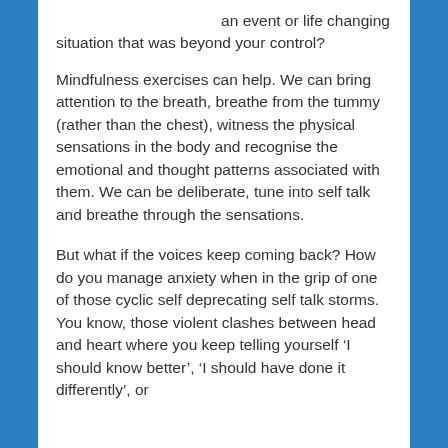an event or life changing situation that was beyond your control?
Mindfulness exercises can help. We can bring attention to the breath, breathe from the tummy (rather than the chest), witness the physical sensations in the body and recognise the emotional and thought patterns associated with them. We can be deliberate, tune into self talk and breathe through the sensations.
But what if the voices keep coming back? How do you manage anxiety when in the grip of one of those cyclic self deprecating self talk storms. You know, those violent clashes between head and heart where you keep telling yourself ‘I should know better’, ‘I should have done it differently’, or